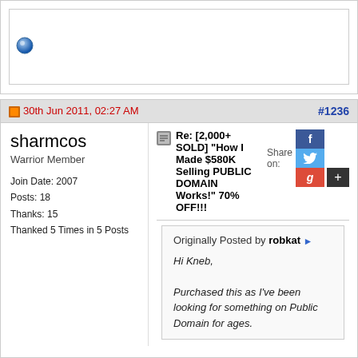[Figure (screenshot): Blue circle/radio button icon in a white box with border]
30th Jun 2011, 02:27 AM
#1236
sharmcos
Warrior Member
Join Date: 2007
Posts: 18
Thanks: 15
Thanked 5 Times in 5 Posts
Re: [2,000+ SOLD] "How I Made $580K Selling PUBLIC DOMAIN Works!" 70% OFF!!!
Share on:
Originally Posted by robkat
Hi Kneb,
Purchased this as I've been looking for something on Public Domain for ages.